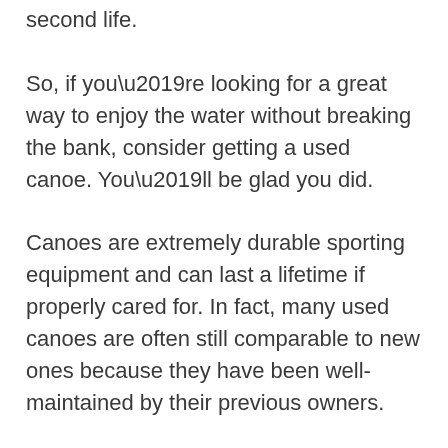second life.
So, if you’re looking for a great way to enjoy the water without breaking the bank, consider getting a used canoe. You’ll be glad you did.
Canoes are extremely durable sporting equipment and can last a lifetime if properly cared for. In fact, many used canoes are often still comparable to new ones because they have been well-maintained by their previous owners.
Sometimes people need to sell their old